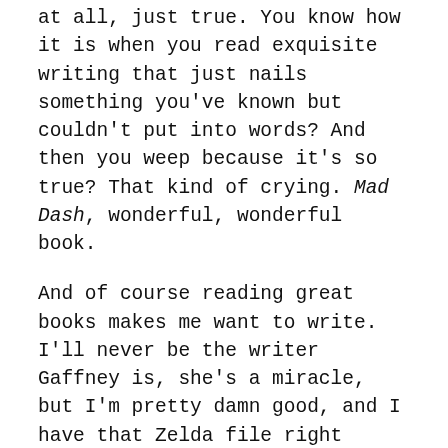at all, just true. You know how it is when you read exquisite writing that just nails something you've known but couldn't put into words? And then you weep because it's so true? That kind of crying. Mad Dash, wonderful, wonderful book.
And of course reading great books makes me want to write. I'll never be the writer Gaffney is, she's a miracle, but I'm pretty damn good, and I have that Zelda file right there on the desktop looking at me. And now I want to write.
But not yet.
So my daughter calls and we're talking about the Cranky Agnes logo (the logo Agnes has at the top of her newspaper column and on her promo aprons)